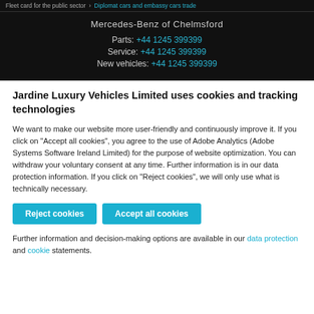Fleet card for the public sector  >  Diplomat cars and embassy cars trade
Mercedes-Benz of Chelmsford
Parts: +44 1245 399399
Service: +44 1245 399399
New vehicles: +44 1245 399399
Jardine Luxury Vehicles Limited uses cookies and tracking technologies
We want to make our website more user-friendly and continuously improve it. If you click on "Accept all cookies", you agree to the use of Adobe Analytics (Adobe Systems Software Ireland Limited) for the purpose of website optimization. You can withdraw your voluntary consent at any time. Further information is in our data protection information. If you click on "Reject cookies", we will only use what is technically necessary.
Reject cookies   Accept all cookies
Further information and decision-making options are available in our data protection and cookie statements.